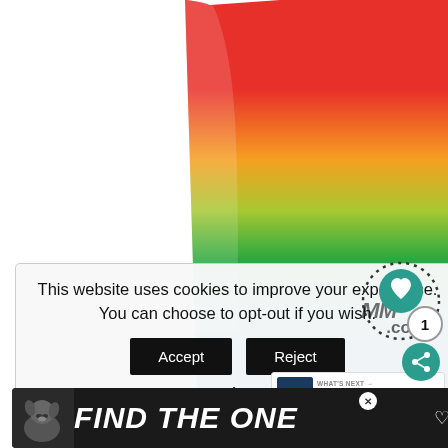[Figure (photo): Close-up of a rainbow-colored cylindrical cup/jelly object with gradient from red at top through green and blue to light blue at the bottom, on a white background]
[Figure (screenshot): Cookie consent banner overlay with text: 'This website uses cookies to improve your experience. You can choose to opt-out if you wish.' with Accept and Reject buttons and a Read More link]
This website uses cookies to improve your experience. You can choose to opt-out if you wish.
Accept
Reject
Read More
WHAT'S NEXT → LEGO Superhero...
[Figure (photo): Advertisement banner with dark background showing a dog and text 'FIND THE ONE' with a heart symbol]